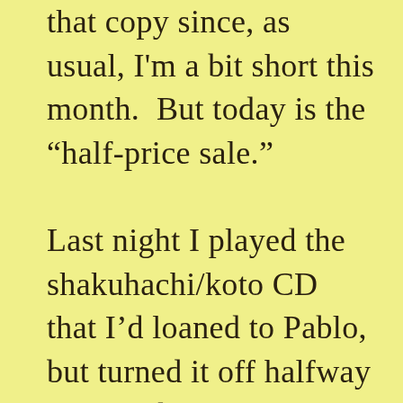that copy since, as usual, I'm a bit short this month.  But today is the “half-price sale.”

Last night I played the shakuhachi/koto CD that I’d loaned to Pablo, but turned it off halfway through because I thought the compositions stupid and worthless.  The CD starts with a long stretch of